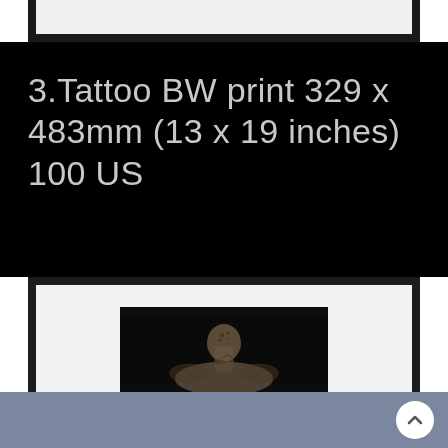[Figure (photo): Top portion of a dark picture frame with white mat, cropped at top of page]
3.Tattoo BW print 329 x 483mm (13 x 19 inches) 100 US
[Figure (photo): Framed black and white photograph showing the back of a person with tattoos on their neck and back, displayed in a black frame with white mat]